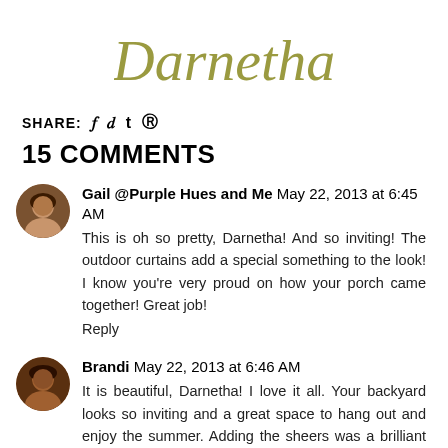[Figure (illustration): Cursive script signature reading 'Darnetha' in olive/gold color]
SHARE: f t ®
15 COMMENTS
[Figure (photo): Round avatar photo of Gail, a woman with dark hair]
Gail @Purple Hues and Me May 22, 2013 at 6:45 AM
This is oh so pretty, Darnetha! And so inviting! The outdoor curtains add a special something to the look! I know you're very proud on how your porch came together! Great job!
Reply
[Figure (photo): Round avatar photo of Brandi, a smiling woman]
Brandi May 22, 2013 at 6:46 AM
It is beautiful, Darnetha! I love it all. Your backyard looks so inviting and a great space to hang out and enjoy the summer. Adding the sheers was a brilliant idea.
Reply